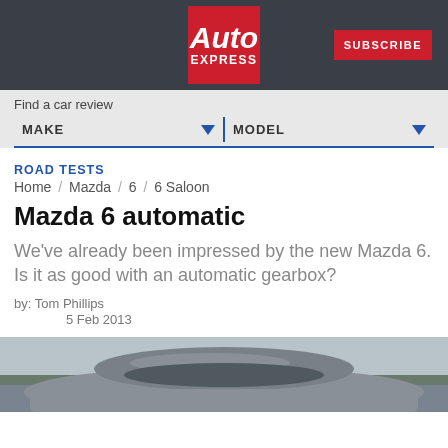Auto Express | SUBSCRIBE
Find a car review
MAKE   MODEL
ROAD TESTS
Home / Mazda / 6 / 6 Saloon
Mazda 6 automatic
We've already been impressed by the new Mazda 6. Is it as good with an automatic gearbox?
by: Tom Phillips
5 Feb 2013
[Figure (photo): Partial view of Mazda 6 saloon car from above/behind, showing roof and rear on a road]